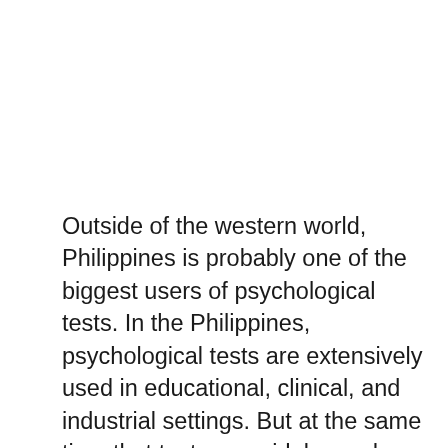Outside of the western world, Philippines is probably one of the biggest users of psychological tests. In the Philippines, psychological tests are extensively used in educational, clinical, and industrial settings. But at the same time that tests are widely used, they are also misused or abused. Often, the ordinary lay person has unrealistic expectations of psychological tests and expects them to provide answers to all questions one might have about individuals